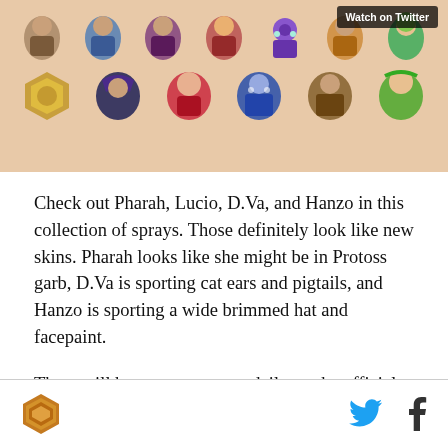[Figure (screenshot): Collection of chibi/spray artwork characters from Overwatch including Pharah, Lucio, D.Va, Hanzo and others, with a 'Watch on Twitter' badge in the top right corner.]
Check out Pharah, Lucio, D.Va, and Hanzo in this collection of sprays. Those definitely look like new skins. Pharah looks like she might be in Protoss garb, D.Va is sporting cat ears and pigtails, and Hanzo is sporting a wide brimmed hat and facepaint.
There will be content teasers daily on the official Overwatch Twitter until Blizzard World goes live, kicking off the content train for 2018.
[Figure (logo): Hexagonal orange/brown layered logo (Levelskip or similar gaming site)]
[Figure (logo): Twitter bird icon in cyan/blue]
[Figure (logo): Facebook 'f' icon in dark color]